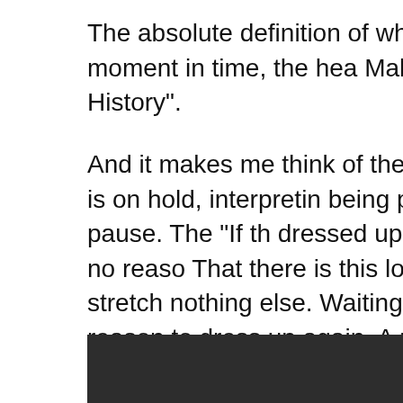The absolute definition of wh of a moment in time, the hea Makes History".
And it makes me think of the fashion is on hold, interpretin being put on pause. The “If th dressed up, there’s no reaso That there is this long stretch nothing else. Waiting for fash reason to dress up again. A r expression. Waiting for wher paused until it’s ‘worth’ it onc
[Figure (photo): Dark image, partially visible, showing a dark background with what appears to be a curved shape or figure in the lower right portion.]